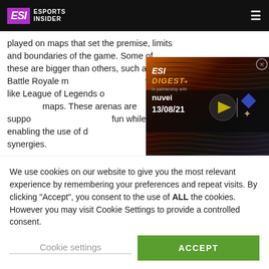ESI ESPORTS INSIDER
played on maps that set the premise, limits and boundaries of the game. Some of these are bigger than others, such as Battle Royale maps, whereas other titles like League of Legends offer more compact maps. These arenas are supposed to be sources of fun while enabling the use of different skills and synergies.
[Figure (screenshot): ESI Digest video thumbnail in partnership with nuvei, dated 13/08/21, with play button and decorative icons]
[Figure (illustration): ESI London banner - The Ultimate Esports Industry Showcase with statue graphic and text: NETWORKING | EDUCATION | DEBATE | PLAY]
We use cookies on our website to give you the most relevant experience by remembering your preferences and repeat visits. By clicking "Accept", you consent to the use of ALL the cookies. However you may visit Cookie Settings to provide a controlled consent.
Cookie settings
ACCEPT